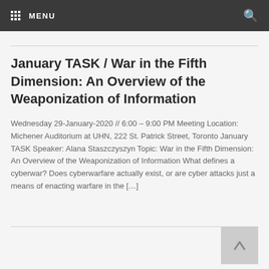MENU
January TASK / War in the Fifth Dimension: An Overview of the Weaponization of Information
Wednesday 29-January-2020 // 6:00 – 9:00 PM Meeting Location: Michener Auditorium at UHN, 222 St. Patrick Street, Toronto January TASK Speaker: Alana Staszczyszyn Topic: War in the Fifth Dimension: An Overview of the Weaponization of Information What defines a cyberwar? Does cyberwarfare actually exist, or are cyber attacks just a means of enacting warfare in the […]